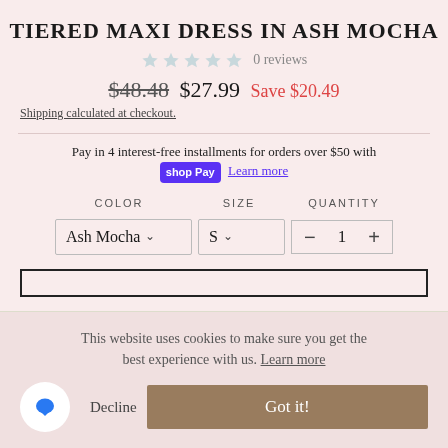TIERED MAXI DRESS IN ASH MOCHA
0 reviews
$48.48  $27.99  Save $20.49
Shipping calculated at checkout.
Pay in 4 interest-free installments for orders over $50 with shop Pay  Learn more
COLOR  SIZE  QUANTITY
Ash Mocha  S  -  1  +
This website uses cookies to make sure you get the best experience with us. Learn more
Decline  Got it!